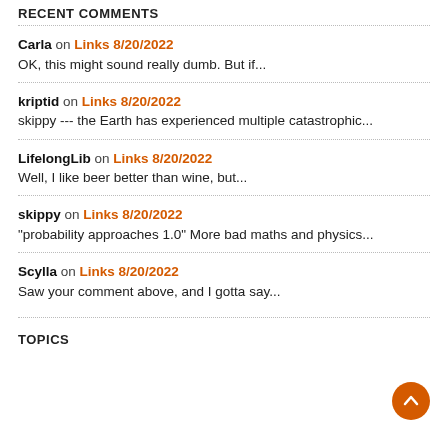RECENT COMMENTS
Carla on Links 8/20/2022 — OK, this might sound really dumb. But if...
kriptid on Links 8/20/2022 — skippy --- the Earth has experienced multiple catastrophic...
LifelongLib on Links 8/20/2022 — Well, I like beer better than wine, but...
skippy on Links 8/20/2022 — "probability approaches 1.0" More bad maths and physics...
Scylla on Links 8/20/2022 — Saw your comment above, and I gotta say...
TOPICS